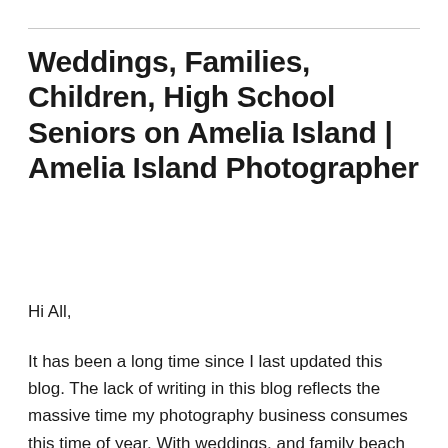Weddings, Families, Children, High School Seniors on Amelia Island | Amelia Island Photographer
Hi All,
It has been a long time since I last updated this blog. The lack of writing in this blog reflects the massive time my photography business consumes this time of year. With weddings, and family beach sessions, new babies, and seniors all coming in at once, time has a way of flying by way too quickly. And, since I am not a writer whose thoughts just flow, writing the blog takes a little more time